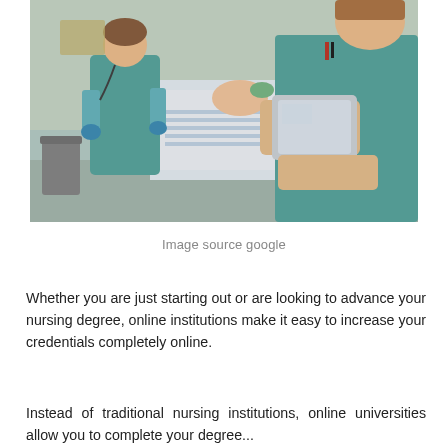[Figure (photo): Healthcare workers in teal scrubs attending to a patient in a hospital bed. One nurse in the foreground holds a tablet/iPad device. Another nurse stands in the background. The scene is in a hospital room.]
Image source google
Whether you are just starting out or are looking to advance your nursing degree, online institutions make it easy to increase your credentials completely online.
Instead of traditional nursing institutions, online universities allow you to complete your degree...